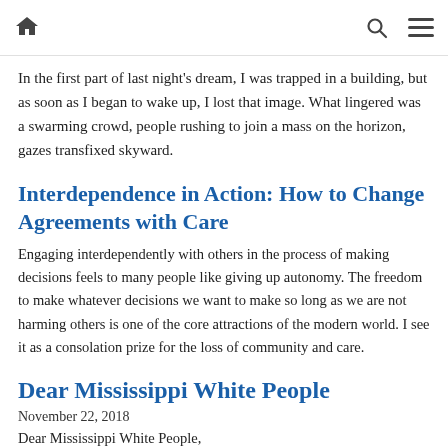Home | Search | Menu
In the first part of last night's dream, I was trapped in a building, but as soon as I began to wake up, I lost that image. What lingered was a swarming crowd, people rushing to join a mass on the horizon, gazes transfixed skyward.
Interdependence in Action: How to Change Agreements with Care
Engaging interdependently with others in the process of making decisions feels to many people like giving up autonomy. The freedom to make whatever decisions we want to make so long as we are not harming others is one of the core attractions of the modern world. I see it as a consolation prize for the loss of community and care.
Dear Mississippi White People
November 22, 2018
Dear Mississippi White People,
Both of my parents were born and reared in Mississippi. They were part